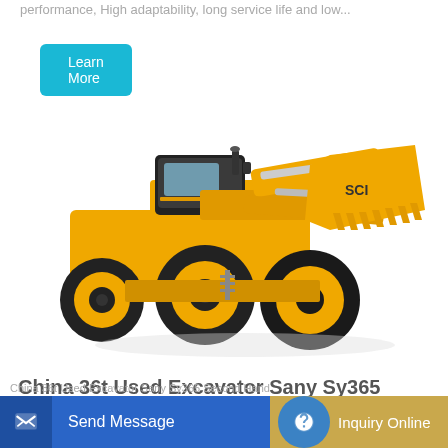performance, High adaptability, long service life and low...
Learn More
[Figure (photo): Yellow wheel loader / front-end loader construction machine with large bucket attachment, shown on white background. Brand markings visible on bucket side.]
China 36t Used Excavator Sany Sy365 Second Hand
Send Message
Inquiry Online
China 36t Used Excavator Sany Sy365 Second Hand